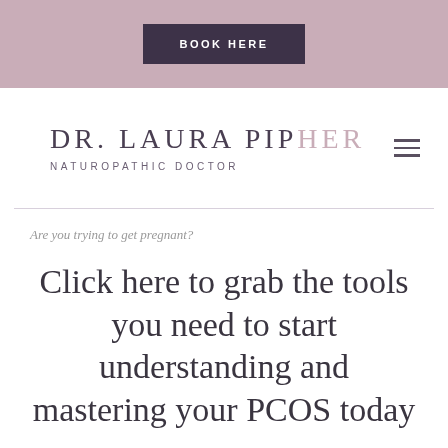BOOK HERE
DR. LAURA PIPHER
NATUROPATHIC DOCTOR
Are you trying to get pregnant?
Click here to grab the tools you need to start understanding and mastering your PCOS today